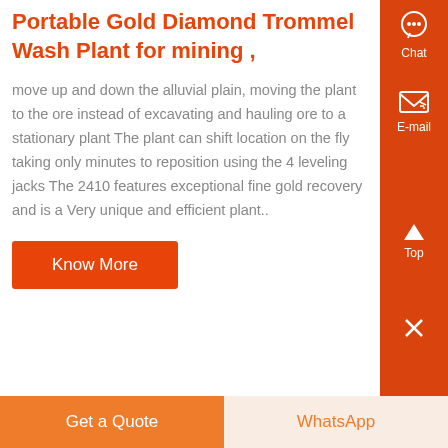Portable Gold Diamond Trommel Wash Plant for mining ,
move up and down the alluvial plain, moving the plant to the ore instead of excavating and hauling ore to a stationary plant The plant can shift location on the fly taking only minutes to reposition using the 4 leveling jacks The 2410 features exceptional fine gold recovery and is a Very unique and efficient plant..
Know More
[Figure (photo): Industrial trommel drum unit photographed from above in a factory/warehouse setting, showing a large cylindrical rotating drum machine with metallic silver/grey finish]
Get a Quote
WhatsApp